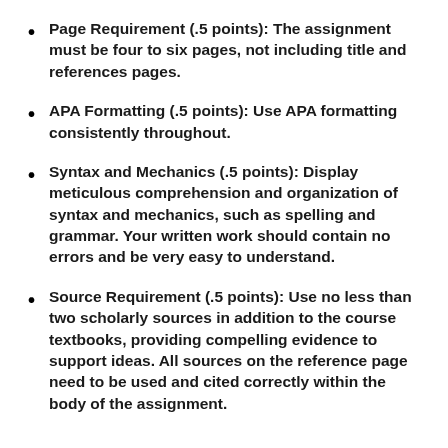Page Requirement (.5 points): The assignment must be four to six pages, not including title and references pages.
APA Formatting (.5 points): Use APA formatting consistently throughout.
Syntax and Mechanics (.5 points): Display meticulous comprehension and organization of syntax and mechanics, such as spelling and grammar. Your written work should contain no errors and be very easy to understand.
Source Requirement (.5 points): Use no less than two scholarly sources in addition to the course textbooks, providing compelling evidence to support ideas. All sources on the reference page need to be used and cited correctly within the body of the assignment.